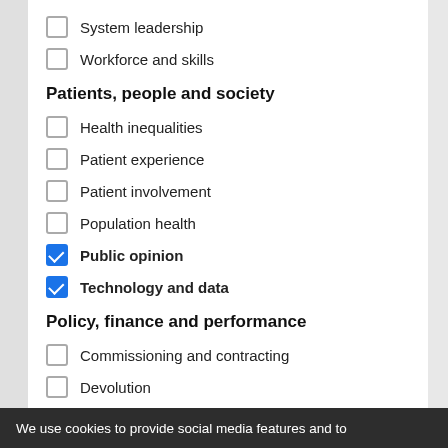System leadership
Workforce and skills
Patients, people and society
Health inequalities
Patient experience
Patient involvement
Population health
Public opinion
Technology and data
Policy, finance and performance
Commissioning and contracting
Devolution
Governance and regulation
Health and Social Care Act 2012
NHS finances
We use cookies to provide social media features and to